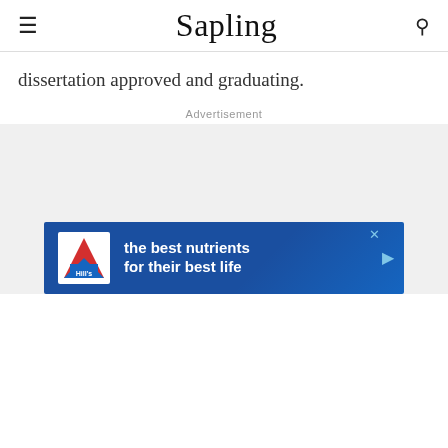Sapling
dissertation approved and graduating.
Advertisement
[Figure (other): Advertisement banner for Hill's pet nutrition: 'the best nutrients for their best life' with Hill's logo on a blue background]
the best nutrients for their best life